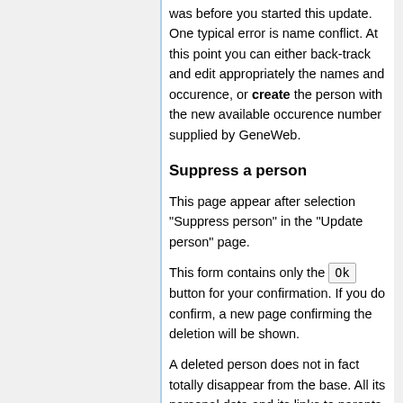was before you started this update. One typical error is name conflict. At this point you can either back-track and edit appropriately the names and occurence, or create the person with the new available occurence number supplied by GeneWeb.
Suppress a person
This page appear after selection "Suppress person" in the "Update person" page.
This form contains only the Ok button for your confirmation. If you do confirm, a new page confirming the deletion will be shown.
A deleted person does not in fact totally disappear from the base. All its personal data and its links to parents do